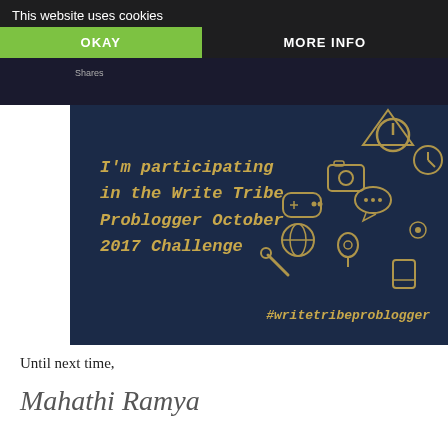This website uses cookies
OKAY
MORE INFO
[Figure (illustration): Write Tribe Problogger October 2017 Challenge badge. Dark navy background with golden illustrated icons (camera, gamepad, power button, map pin, globe, etc.) arranged in a decorative swirl. Text reads: I'm participating in the Write Tribe Problogger October 2017 Challenge. Hashtag: #writetribeproblogger]
Until next time,
[Figure (illustration): Cursive handwritten signature reading 'Mahathi Ramya']